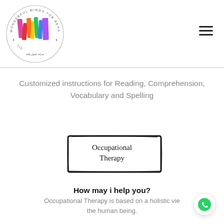[Figure (logo): Wonderful Minds for Rehabilitation and Training LLC circular logo with colorful W-shaped mark in red, orange, yellow, green, blue, purple and pink, with Arabic text at bottom]
Customized instructions for Reading, Comprehension, Vocabulary and Spelling
[Figure (illustration): Hand-drawn style black rectangle border containing the text 'Occupational Therapy']
How may i help you?
Occupational Therapy is based on a holistic vie the human being.